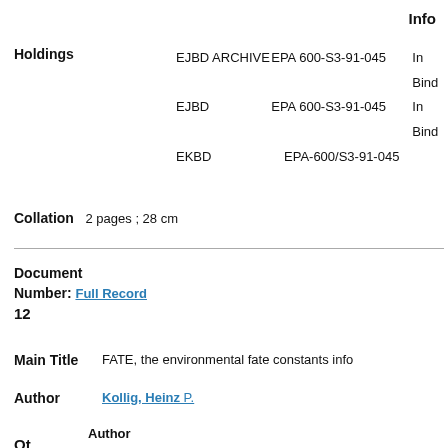Info
|  | Library | Call Number | Info |
| --- | --- | --- | --- |
| Holdings | EJBD ARCHIVE | EPA 600-S3-91-045 | In Bind |
|  | EJBD | EPA 600-S3-91-045 | In Bind |
|  | EKBD | EPA-600/S3-91-045 |  |
Collation   2 pages ; 28 cm
Document Number:   Full Record
12
Main Title   FATE, the environmental fate constants info
Author   Kollig, Heinz P.
Author
Ot